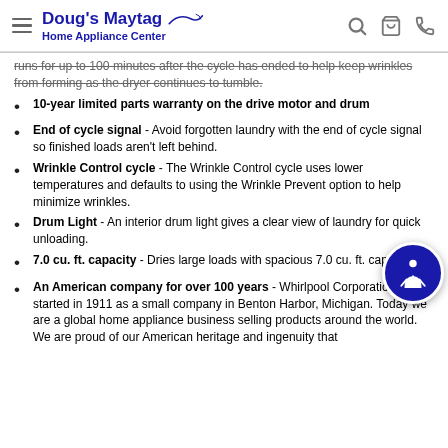Doug's Maytag Home Appliance Center
runs for up to 100 minutes after the cycle has ended to help keep wrinkles from forming as the dryer continues to tumble.
10-year limited parts warranty on the drive motor and drum
End of cycle signal - Avoid forgotten laundry with the end of cycle signal so finished loads aren't left behind.
Wrinkle Control cycle - The Wrinkle Control cycle uses lower temperatures and defaults to using the Wrinkle Prevent option to help minimize wrinkles.
Drum Light - An interior drum light gives a clear view of laundry for quick unloading.
7.0 cu. ft. capacity - Dries large loads with spacious 7.0 cu. ft. capacity
An American company for over 100 years - Whirlpool Corporation started in 1911 as a small company in Benton Harbor, Michigan. Today we are a global home appliance business selling products around the world. We are proud of our American heritage and ingenuity that